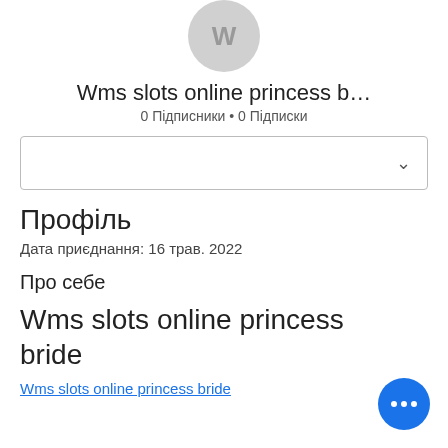[Figure (illustration): Grey circular avatar placeholder with initials]
Wms slots online princess b…
0 Підписники • 0 Підписки
[Figure (other): Dropdown selector box with chevron]
Профіль
Дата приєднання: 16 трав. 2022
Про себе
Wms slots online princess bride
Wms slots online princess bride